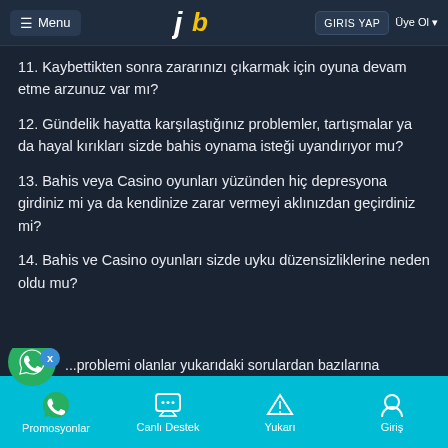Menu | jb logo | GIRIS YAP | Üye Ol
11. Kaybettikten sonra zararınızı çıkarmak için oyuna devam etme arzunuz var mı?
12. Gündelik hayatta karşılaştığınız problemler, tartışmalar ya da hayal kırıkları sizde bahis oynama isteği uyandırıyor mu?
13. Bahis veya Casino oyunları yüzünden hiç depresyona girdiniz mi ya da kendinize zarar vermeyi aklınızdan geçirdiniz mi?
14. Bahis ve Casino oyunları sizde uyku düzensizliklerine neden oldu mu?
...problemi olanlar yukarıdaki sorulardan bazılarına
Promosyonlar | Canlı Destek | Yukarı | Giriş